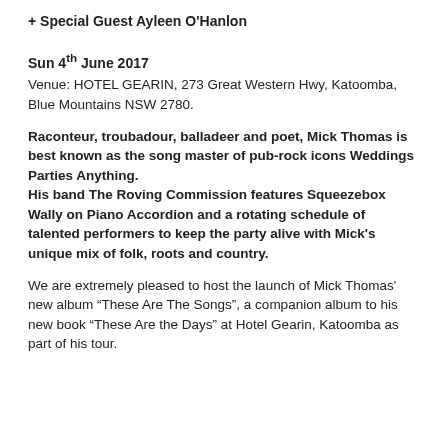+ Special Guest Ayleen O'Hanlon
Sun 4th June 2017
Venue: HOTEL GEARIN, 273 Great Western Hwy, Katoomba, Blue Mountains NSW 2780.
Raconteur, troubadour, balladeer and poet, Mick Thomas is best known as the song master of pub-rock icons Weddings Parties Anything. His band The Roving Commission features Squeezebox Wally on Piano Accordion and a rotating schedule of talented performers to keep the party alive with Mick's unique mix of folk, roots and country.
We are extremely pleased to host the launch of Mick Thomas' new album “These Are The Songs”, a companion album to his new book “These Are the Days” at Hotel Gearin, Katoomba as part of his tour.